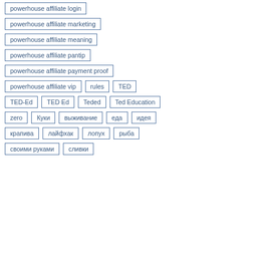powerhouse affiliate login
powerhouse affiliate marketing
powerhouse affiliate meaning
powerhouse affiliate pantip
powerhouse affiliate payment proof
powerhouse affiliate vip
rules
TED
TED-Ed
TED Ed
Teded
Ted Education
zero
Куки
выживание
еда
идея
крапива
лайфхак
лопух
рыба
своими руками
сливки